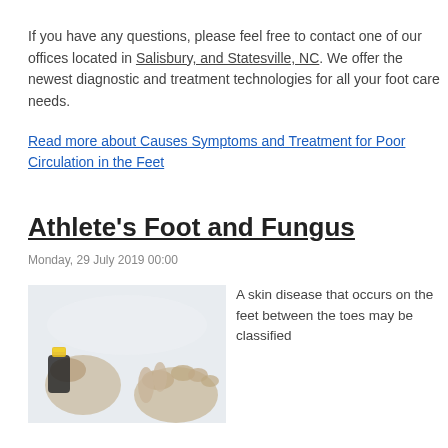If you have any questions, please feel free to contact one of our offices located in Salisbury, and Statesville, NC. We offer the newest diagnostic and treatment technologies for all your foot care needs.
Read more about Causes Symptoms and Treatment for Poor Circulation in the Feet
Athlete's Foot and Fungus
Monday, 29 July 2019 00:00
[Figure (photo): Photo of a person's feet with what appears to be a spray can being used on them, illustrating athlete's foot treatment.]
A skin disease that occurs on the feet between the toes may be classified